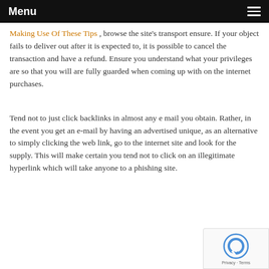Menu
Making Use Of These Tips , browse the site's transport ensure. If your object fails to deliver out after it is expected to, it is possible to cancel the transaction and have a refund. Ensure you understand what your privileges are so that you will are fully guarded when coming up with on the internet purchases.
Tend not to just click backlinks in almost any e mail you obtain. Rather, in the event you get an e-mail by having an advertised unique, as an alternative to simply clicking the web link, go to the internet site and look for the supply. This will make certain you tend not to click on an illegitimate hyperlink which will take anyone to a phishing site.